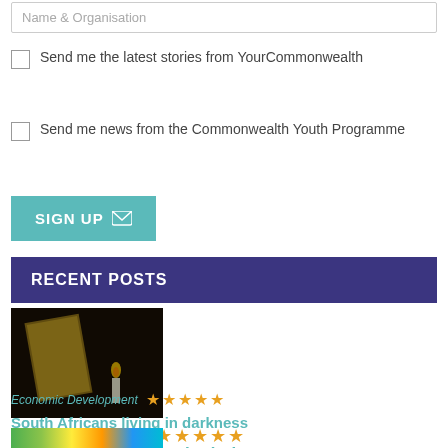Name & Organisation
Send me the latest stories from YourCommonwealth
Send me news from the Commonwealth Youth Programme
SIGN UP
RECENT POSTS
[Figure (photo): Dark image showing a candle and a yellow/black sign in the background]
Economic Development ★★★★★
South Africans living in darkness
August 18, 2022
[Figure (photo): Colorful image partially visible at bottom]